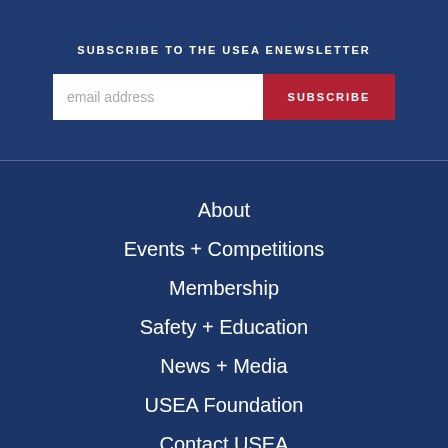SUBSCRIBE TO THE USEA ENEWSLETTER
email address
SUBSCRIBE
About
Events + Competitions
Membership
Safety + Education
News + Media
USEA Foundation
Contact USEA